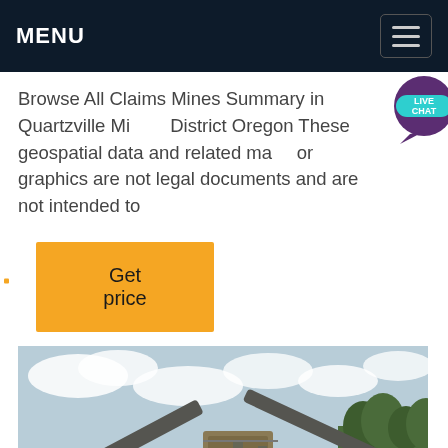MENU
Browse All Claims Mines Summary in Quartzville Mining District Oregon These geospatial data and related maps or graphics are not legal documents and are not intended to
Get price
[Figure (photo): Outdoor industrial mining conveyor belt and processing equipment under a cloudy sky with trees in background]